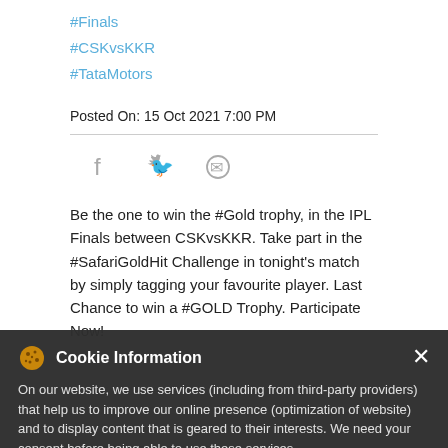#Finals
#CSKvsKKR
#TataMotors
Posted On: 15 Oct 2021 7:00 PM
[Figure (infographic): Social share icons: Facebook, Twitter, WhatsApp]
Be the one to win the #Gold trophy, in the IPL Finals between CSKvsKKR. Take part in the #SafariGoldHit Challenge in tonight's match by simply tagging your favourite player. Last Chance to win a #GOLD Trophy. Participate Now!
Cookie Information
On our website, we use services (including from third-party providers) that help us to improve our online presence (optimization of website) and to display content that is geared to their interests. We need your consent before being able to use these services.